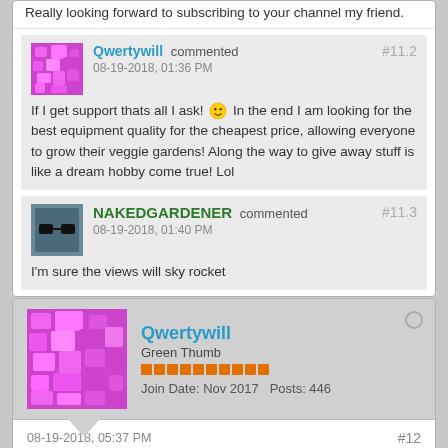Really looking forward to subscribing to your channel my friend.
Qwertywill commented #11.2 08-19-2018, 01:36 PM — If I get support thats all I ask! 🙂 In the end I am looking for the best equipment quality for the cheapest price, allowing everyone to grow their veggie gardens! Along the way to give away stuff is like a dream hobby come true! Lol
NAKEDGARDENER commented #11.3 08-19-2018, 01:40 PM — I'm sure the views will sky rocket
Qwertywill — Green Thumb — Join Date: Nov 2017   Posts: 446
08-19-2018, 05:37 PM #12
Still lots of work being done, trying to figure out if there is a way to link YouTube without a video being uploaded as of yet.